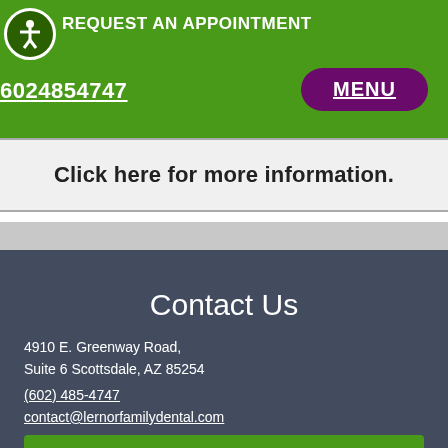REQUEST AN APPOINTMENT
6024854747
MENU
Click here for more information.
Contact Us
4910 E. Greenway Road, Suite 6 Scottsdale, AZ 85254
(602) 485-4747
contact@lernorfamilydental.com
REQUEST AN APPOINTMENT
Ride there with Uber